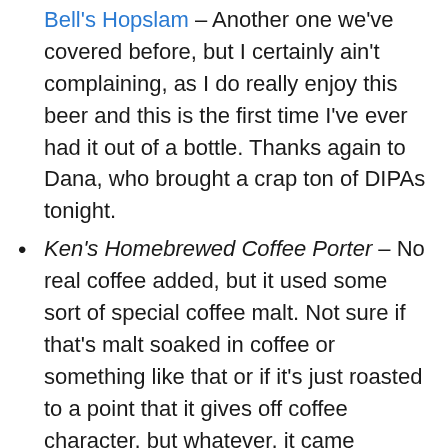Bell's Hopslam – Another one we've covered before, but I certainly ain't complaining, as I do really enjoy this beer and this is the first time I've ever had it out of a bottle. Thanks again to Dana, who brought a crap ton of DIPAs tonight.
Ken's Homebrewed Coffee Porter – No real coffee added, but it used some sort of special coffee malt. Not sure if that's malt soaked in coffee or something like that or if it's just roasted to a point that it gives off coffee character, but whatever, it came through well in the beer and did not overpower it at all. Granted, coffee porters aren't really my thing, but this seemed to work reasonably well. B-